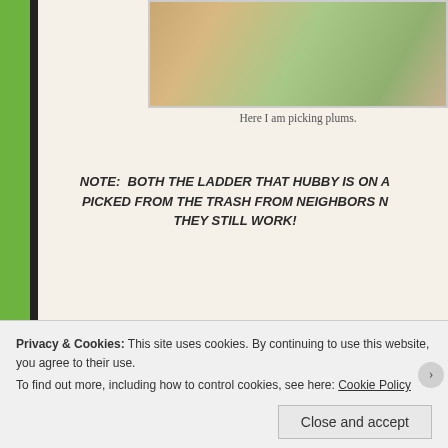[Figure (photo): Partial photo showing a person picking plums outdoors, cropped at top]
Here I am picking plums.
NOTE:  BOTH THE LADDER THAT HUBBY IS ON AN PICKED FROM THE TRASH FROM NEIGHBORS N THEY STILL WORK!
[Figure (photo): Photo of a large leafy tree outdoors, partially visible]
Privacy & Cookies: This site uses cookies. By continuing to use this website, you agree to their use.
To find out more, including how to control cookies, see here: Cookie Policy
Close and accept